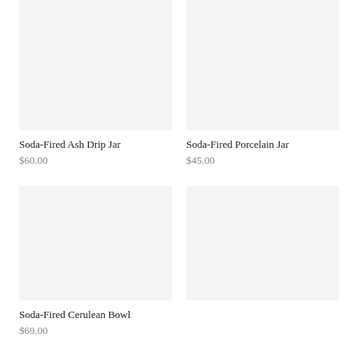[Figure (photo): Product image placeholder for Soda-Fired Ash Drip Jar, light gray background]
[Figure (photo): Product image placeholder for Soda-Fired Porcelain Jar, light gray background]
Soda-Fired Ash Drip Jar
$60.00
Soda-Fired Porcelain Jar
$45.00
[Figure (photo): Product image placeholder for Soda-Fired Cerulean Bowl, light gray background]
[Figure (photo): Product image placeholder, light gray background, unlabeled item]
Soda-Fired Cerulean Bowl
$69.00